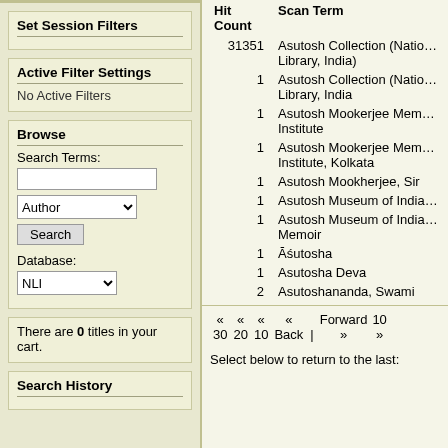Set Session Filters
Active Filter Settings
No Active Filters
Browse
Search Terms:
Author (dropdown)
Search (button)
Database:
NLI (dropdown)
There are 0 titles in your cart.
Search History
| Hit Count | Scan Term |
| --- | --- |
| 31351 | Asutosh Collection (National Library, India) |
| 1 | Asutosh Collection (National Library, India |
| 1 | Asutosh Mookerjee Memorial Institute |
| 1 | Asutosh Mookerjee Memorial Institute, Kolkata |
| 1 | Asutosh Mookherjee, Sir |
| 1 | Asutosh Museum of India |
| 1 | Asutosh Museum of India Memoir |
| 1 | Āśutosha |
| 1 | Asutosha Deva |
| 2 | Asutoshananda, Swami |
« 30  « 20  « 10  « Back  |  Forward »  10 »
Select below to return to the last: